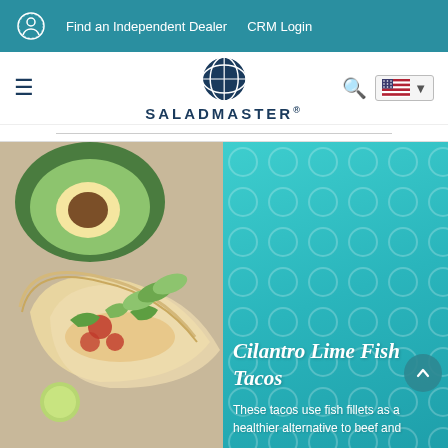Find an Independent Dealer   CRM Login
[Figure (logo): Saladmaster logo — circular gear/globe icon above the text SALADMASTER with registered trademark symbol]
[Figure (photo): Hero banner image showing Cilantro Lime Fish Tacos — left side shows a close-up photo of fish tacos with avocado and fresh toppings; right side is a teal background with circular pattern overlay, containing italic white text heading 'Cilantro Lime Fish Tacos' and subtitle text 'These tacos use fish fillets as a healthier alternative to beef and']